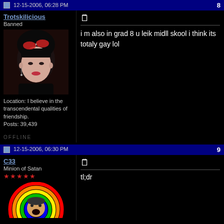12-15-2006, 06:28 PM | 8
Trotskilicious
Banned
[Figure (photo): Avatar of user Trotskilicious: dark-haired woman with red sunglasses on head]
Location: I believe in the transcendental qualities of friendship.
Posts: 39,439
OFFLINE
i m also in grad 8 u leik midll skool i think its totaly gay lol
12-15-2006, 06:30 PM | 9
C33
Minion of Satan
[Figure (photo): Avatar of user C33: man with rainbow halo around head, mouth open]
tl;dr